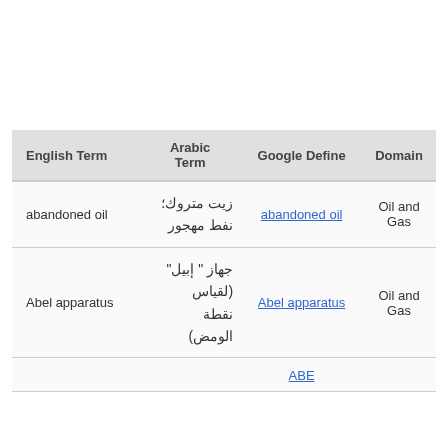| English Term | Arabic Term | Google Define | Domain |
| --- | --- | --- | --- |
| abandoned oil | زيت متروك؛ نفط مهجور | abandoned oil | Oil and Gas |
| Abel apparatus | جهاز "إبيل" (لقياس نقطة الومض) | Abel apparatus | Oil and Gas |
|  |  | ABE |  |